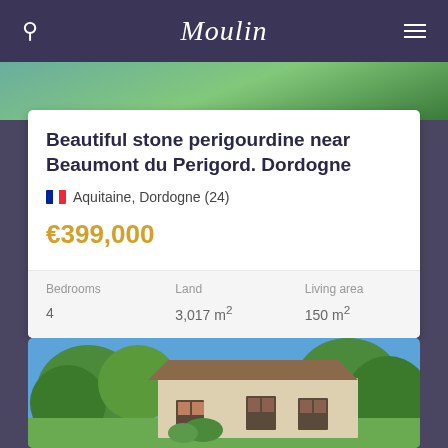Moulin
[Figure (photo): Partial view of nature/water scene at top of page]
Beautiful stone perigourdine near Beaumont du Perigord. Dordogne
Aquitaine, Dordogne (24)
€399,000
| Bedrooms | Land | Living area |
| --- | --- | --- |
| 4 | 3,017 m² | 150 m² |
[Figure (photo): Stone perigourdine house with red shutters surrounded by trees under blue sky]